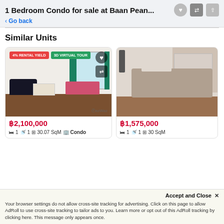1 Bedroom Condo for sale at Baan Pean...
< Go back
Similar Units
[Figure (photo): Living room photo of condo unit with sofa, coffee table, bed, and teal curtains. Badges: 4% RENTAL YIELD, 3D VIRTUAL TOUR. Price: ฿2,100,000. Details: 1 bed, 1 bath, 30.07 SqM, Condo.]
[Figure (photo): Bedroom photo of condo unit with bed and brown curtains. Price: ฿1,575,000. Details: 1 bed, 1 bath, 30 SqM.]
฿2,100,000
🛏 1  🚿 1  ⊞ 30.07 SqM  🏢 Condo
฿1,575,000
🛏 1  🚿 1  ⊞ 30 SqM
Accept and Close ✕
Your browser settings do not allow cross-site tracking for advertising. Click on this page to allow AdRoll to use cross-site tracking to tailor ads to you. Learn more or opt out of this AdRoll tracking by clicking here. This message only appears once.